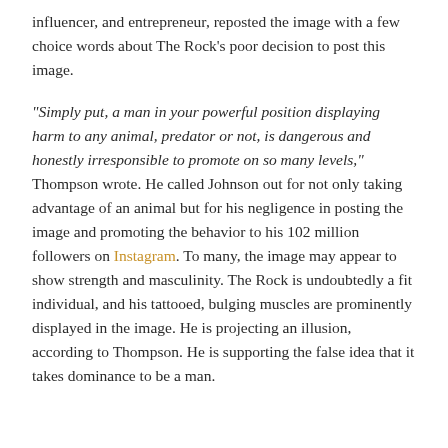influencer, and entrepreneur, reposted the image with a few choice words about The Rock's poor decision to post this image.
“Simply put, a man in your powerful position displaying harm to any animal, predator or not, is dangerous and honestly irresponsible to promote on so many levels,” Thompson wrote. He called Johnson out for not only taking advantage of an animal but for his negligence in posting the image and promoting the behavior to his 102 million followers on Instagram. To many, the image may appear to show strength and masculinity. The Rock is undoubtedly a fit individual, and his tattooed, bulging muscles are prominently displayed in the image. He is projecting an illusion, according to Thompson. He is supporting the false idea that it takes dominance to be a man.